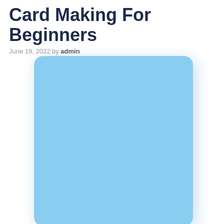Card Making For Beginners
June 19, 2022 by admin
[Figure (illustration): A large light blue rounded rectangle card placeholder image against a white background with a soft shadow]